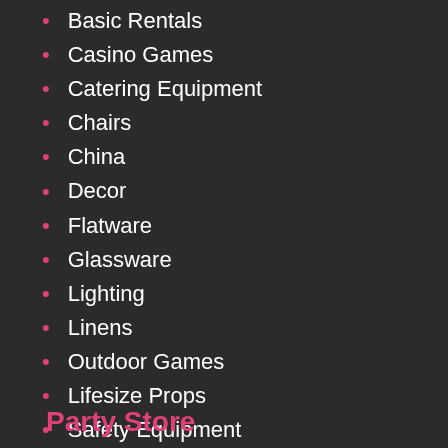Basic Rentals
Casino Games
Catering Equipment
Chairs
China
Decor
Flatware
Glassware
Lighting
Linens
Outdoor Games
Lifesize Props
Safety Equipment
Sound & Lighting Equipment
Tables
Tents
Party Store